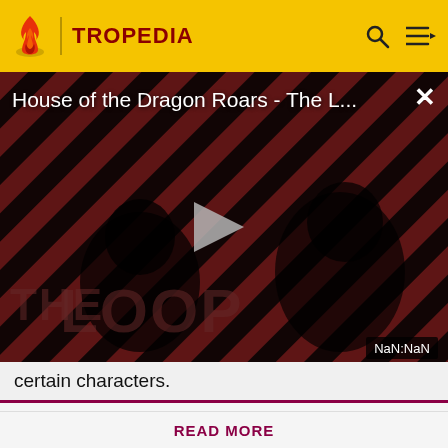TROPEDIA
[Figure (screenshot): Video player showing 'House of the Dragon Roars - The L...' with a red and black diagonal striped background and two people visible. Large THE LOOP text in lower left. Play button in center. NaN:NaN timestamp. Close X button in top right.]
certain characters.
Before making a single edit, Tropedia EXPECTS our site policy and manual of style to be followed. Failure to do so may
READ MORE